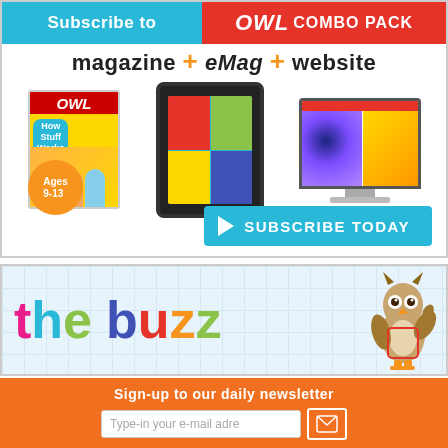[Figure (infographic): OWL Combo Pack subscription advertisement banner. Blue header with 'Subscribe to' text, red section with 'OWL combo pack' text. Below: 'magazine + eMag + website' tagline. Images of OWL magazine, tablet eMag, and desktop website. Ages 9-13 badge. Cyan 'SUBSCRIBE TODAY' button.]
[Figure (infographic): The Buzz newsletter banner with colorful letters on grid-paper background. Cartoon owl mascot on right side.]
Sign-up to our daily newsletter
Type-in your e-mail adre